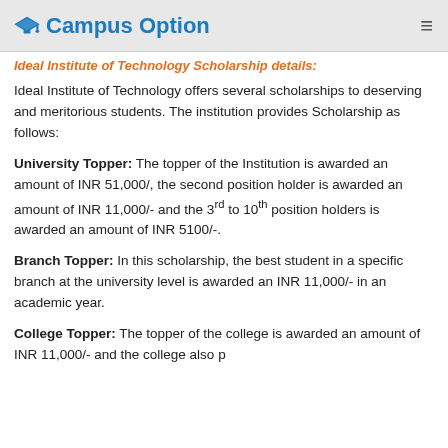Campus Option
Ideal Institute of Technology Scholarship details:
Ideal Institute of Technology offers several scholarships to deserving and meritorious students. The institution provides Scholarship as follows:
University Topper: The topper of the Institution is awarded an amount of INR 51,000/, the second position holder is awarded an amount of INR 11,000/- and the 3rd to 10th position holders is awarded an amount of INR 5100/-.
Branch Topper: In this scholarship, the best student in a specific branch at the university level is awarded an INR 11,000/- in an academic year.
College Topper: The topper of the college is awarded an amount of INR 11,000/- and the college also...